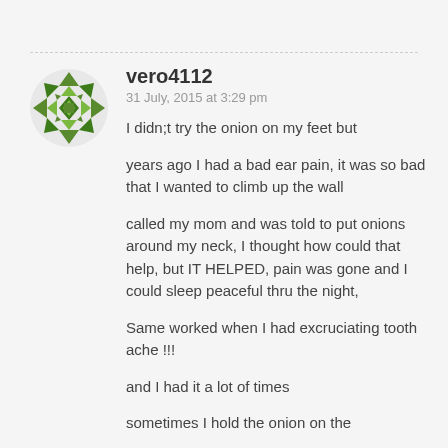[Figure (illustration): Green geometric/mosaic circular avatar icon with diamond and triangle pattern]
vero4112
31 July, 2015 at 3:29 pm
I didn;t try the onion on my feet but

years ago I had a bad ear pain, it was so bad that I wanted to climb up the wall

called my mom and was told to put onions around my neck, I thought how could that help, but IT HELPED, pain was gone and I could sleep peaceful thru the night,

Same worked when I had excruciating tooth ache !!!

and I had it a lot of times

sometimes I hold the onion on the